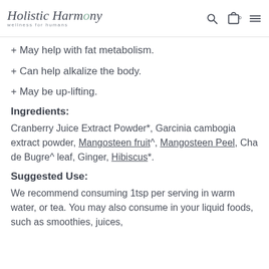Holistic Harmony — wellness for humans
+ May help with fat metabolism.
+ Can help alkalize the body.
+ May be up-lifting.
Ingredients:
Cranberry Juice Extract Powder*, Garcinia cambogia extract powder, Mangosteen fruit^, Mangosteen Peel, Cha de Bugre^ leaf, Ginger, Hibiscus*.
Suggested Use:
We recommend consuming 1tsp per serving in warm water, or tea. You may also consume in your liquid foods, such as smoothies, juices,